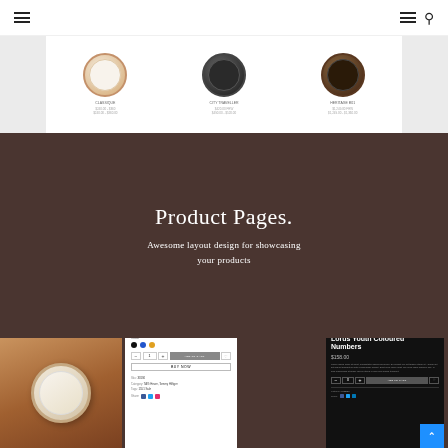[Figure (screenshot): Navigation bar with hamburger menu icons and search icon on white background]
[Figure (screenshot): Horizontal product strip showing three watches (rose gold, dark chronograph, brown strap) with small text labels and gray panels on sides]
Product Pages.
Awesome layout design for showcasing your products
[Figure (screenshot): Product page mockup showing a wrist watch photo, a light-themed add-to-cart product card with color swatches and BUY NOW button, and a dark-themed product card for Lorus Youth Coloured Numbers priced at $158.00 with ADD TO CART button and a blue scroll-to-top button]